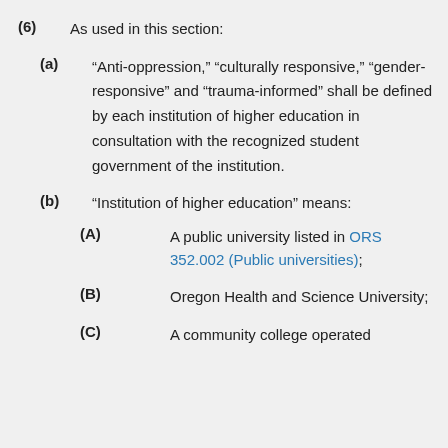(6) As used in this section:
(a) “Anti-oppression,” “culturally responsive,” “gender-responsive” and “trauma-informed” shall be defined by each institution of higher education in consultation with the recognized student government of the institution.
(b) “Institution of higher education” means:
(A) A public university listed in ORS 352.002 (Public universities);
(B) Oregon Health and Science University;
(C) A community college operated